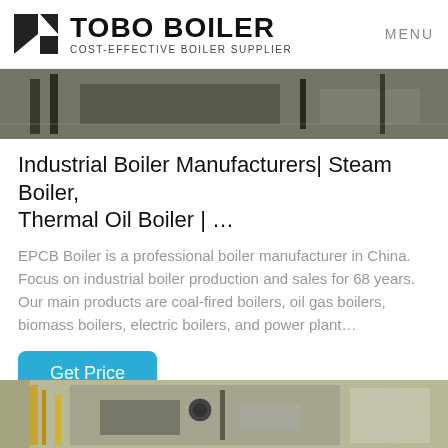TOBO BOILER COST-EFFECTIVE BOILER SUPPLIER | MENU
[Figure (photo): Industrial boiler equipment photo, partial view, dark tones]
Industrial Boiler Manufacturers| Steam Boiler, Thermal Oil Boiler | …
EPCB Boiler is a professional boiler manufacturer in China. Focus on industrial boiler production and sales for 68 years. Our main products are coal-fired boilers, oil gas boilers, biomass boilers, electric boilers, and power plant…
Get Price
[Figure (photo): Industrial boiler room with pipes and equipment, bottom of page]